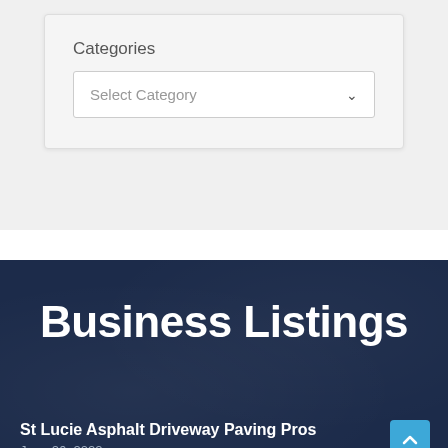Categories
Select Category
Business Listings
St Lucie Asphalt Driveway Paving Pros
June 26, 2022